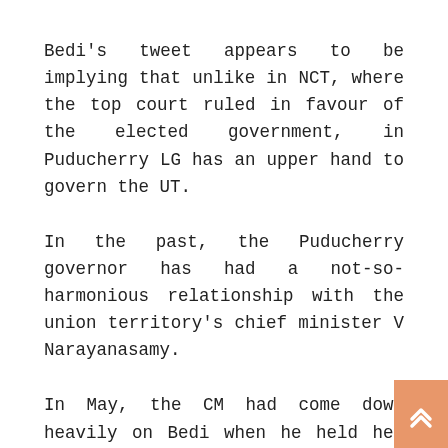Bedi's tweet appears to be implying that unlike in NCT, where the top court ruled in favour of the elected government, in Puducherry LG has an upper hand to govern the UT.
In the past, the Puducherry governor has had a not-so-harmonious relationship with the union territory's chief minister V Narayanasamy.
In May, the CM had come down heavily on Bedi when he held her responsible for the delay in the implementation of the Congress government's popular 'free rice scheme' in the UT.
A few days later, the chief minister demanded the resignation of Bedi “on moral grounds” as the Union